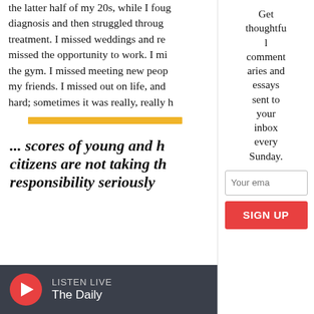the latter half of my 20s, while I fought through diagnosis and then struggled through treatment. I missed weddings and reunions. I missed the opportunity to work. I missed the gym. I missed meeting new people. I missed my friends. I missed out on life, and that was hard; sometimes it was really, really hard.
[Figure (other): Gold/yellow horizontal decorative bar separator]
... scores of young and healthy citizens are not taking their responsibility seriously
Get thoughtful commentaries and essays sent to your inbox every Sunday.
Your email
SIGN UP
LISTEN LIVE
The Daily